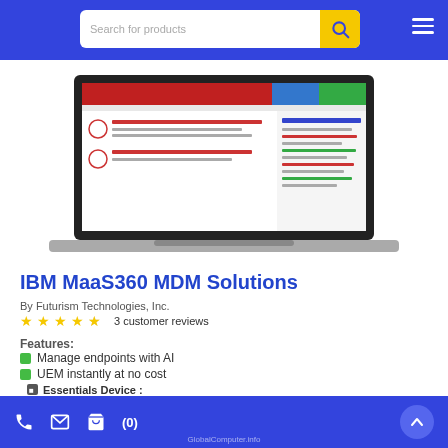[Figure (screenshot): Blue navigation header bar with search box and hamburger menu]
[Figure (screenshot): Laptop screen displaying IBM MaaS360 MDM Solutions dashboard interface]
IBM MaaS360 MDM Solutions
By Futurism Technologies, Inc.
3 customer reviews
Features:
Manage endpoints with AI
UEM instantly at no cost
Essentials Device :
Cost per Device : $ 3.40 / Month $4.00  15% OFF
Select Number of Devices : -Select-
GlobalComputer.info